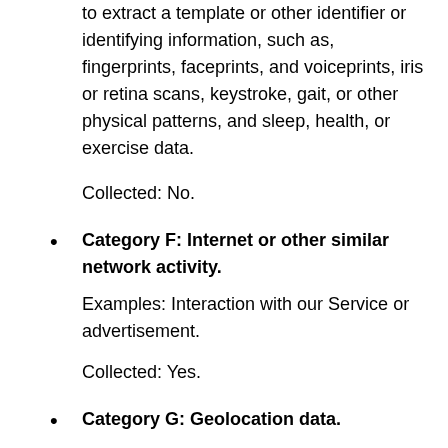to extract a template or other identifier or identifying information, such as, fingerprints, faceprints, and voiceprints, iris or retina scans, keystroke, gait, or other physical patterns, and sleep, health, or exercise data.
Collected: No.
Category F: Internet or other similar network activity.
Examples: Interaction with our Service or advertisement.
Collected: Yes.
Category G: Geolocation data.
Examples: Approximate physical location.